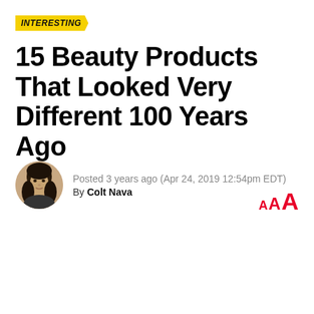INTERESTING
15 Beauty Products That Looked Very Different 100 Years Ago
Posted 3 years ago (Apr 24, 2019 12:54pm EDT)
By Colt Nava
[Figure (illustration): Small circular avatar photo of author Colt Nava, a person with long dark hair]
A A A (font size selector in red)